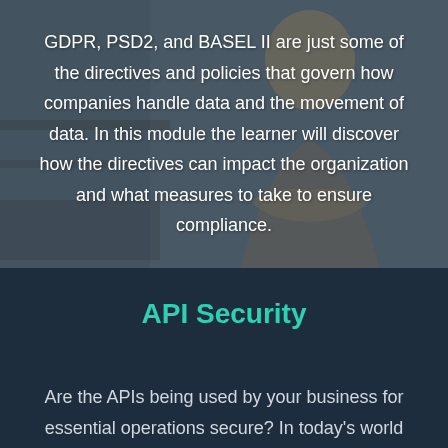[Figure (photo): Background photo of a woman with arms crossed in an office/classroom setting, with a semi-transparent dark overlay]
GDPR, PSD2, and BASEL II are just some of the directives and policies that govern how companies handle data and the movement of data. In this module the learner will discover how the directives can impact the organization and what measures to take to ensure compliance.
API Security
Are the APIs being used by your business for essential operations secure? In today's world